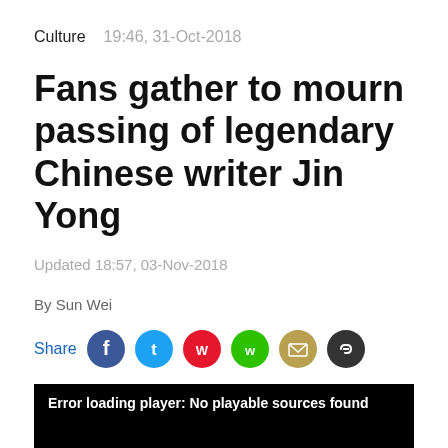Culture   19:46, 31-Oct-2018
Fans gather to mourn passing of legendary Chinese writer Jin Yong
Updated 18:57, 03-Nov-2018
By Sun Wei
Share
[Figure (screenshot): Video player error screen showing black background with white text: Error loading player: No playable sources found]